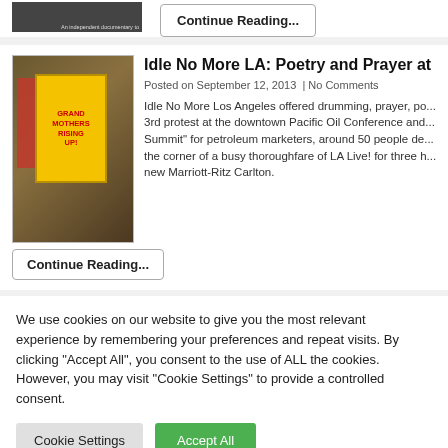[Figure (photo): Small thumbnail image at the top, dark/dimmed photo with caption 'An independent documentary to...']
Continue Reading...
[Figure (photo): Photo of protest with yellow banner reading 'GRAND MOTHERS RISING UP!' at Idle No More LA event]
Idle No More LA: Poetry and Prayer at
Posted on September 12, 2013  | No Comments
Idle No More Los Angeles offered drumming, prayer, po... 3rd protest at the downtown Pacific Oil Conference and... Summit" for petroleum marketers, around 50 people de... the corner of a busy thoroughfare of LA Live! for three h... new Marriott-Ritz Carlton.
Continue Reading...
We use cookies on our website to give you the most relevant experience by remembering your preferences and repeat visits. By clicking "Accept All", you consent to the use of ALL the cookies. However, you may visit "Cookie Settings" to provide a controlled consent.
Cookie Settings
Accept All